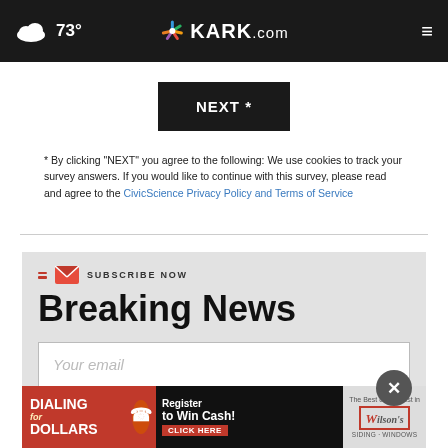73° KARK.com
[Figure (screenshot): NEXT * button, black rectangle with white bold text]
* By clicking "NEXT" you agree to the following: We use cookies to track your survey answers. If you would like to continue with this survey, please read and agree to the CivicScience Privacy Policy and Terms of Service
[Figure (infographic): Subscribe Now Breaking News email signup box with Your email input field]
[Figure (infographic): Dialing for Dollars advertisement banner - Register to Win Cash! CLICK HERE Wilson's Siding Windows]